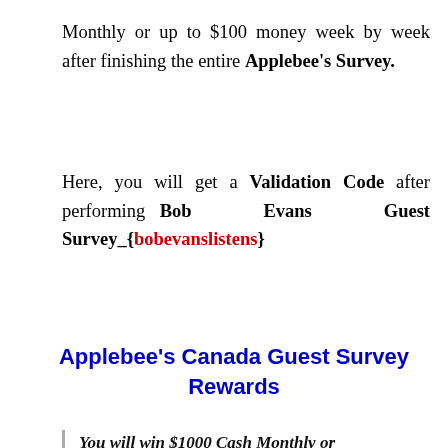Monthly or up to $100 money week by week after finishing the entire Applebee's Survey.
Here, you will get a Validation Code after performing Bob Evans Guest Survey_{bobevanslistens}
Applebee's Canada Guest Survey Rewards
You will win $1000 Cash Monthly or
Up to $100 money week by week